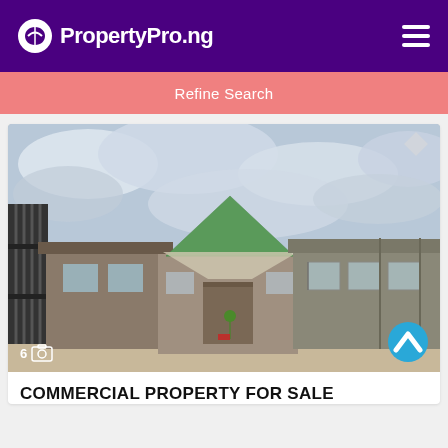PropertyPro.ng
Refine Search
[Figure (photo): Exterior courtyard view of a single-storey building with a green metal hip roof, sandy/dusty compound, cloudy sky, and a gate visible on the left.]
COMMERCIAL PROPERTY FOR SALE